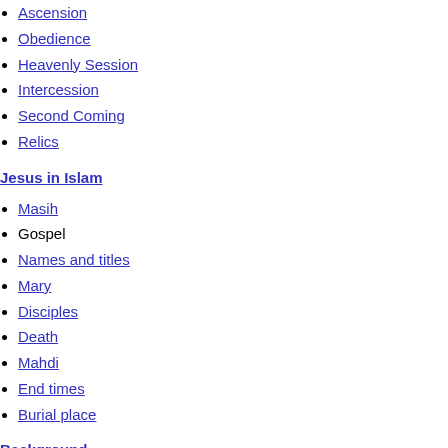Ascension
Obedience
Heavenly Session
Intercession
Second Coming
Relics
Jesus in Islam
Masih
Gospel
Names and titles
Mary
Disciples
Death
Mahdi
End times
Burial place
Background
Background to the New Testament
Language spoken by Jesus
Jesus' race / genealogy